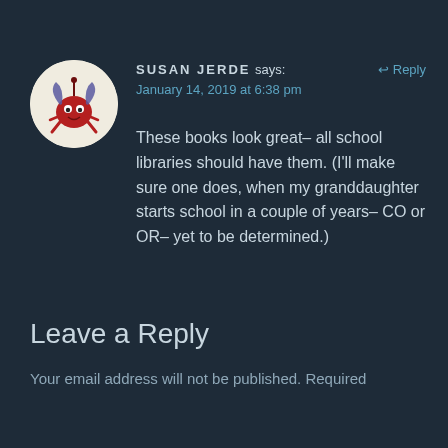[Figure (illustration): Circular avatar with cream background showing a cartoon red crab-like character with bat wings and a smiley face]
SUSAN JERDE says:
↩ Reply
January 14, 2019 at 6:38 pm
These books look great– all school libraries should have them. (I'll make sure one does, when my granddaughter starts school in a couple of years– CO or OR– yet to be determined.)
Leave a Reply
Your email address will not be published. Required